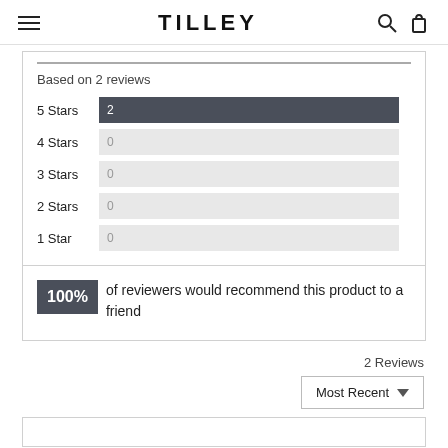TILLEY
Based on 2 reviews
[Figure (bar-chart): Star rating distribution]
100% of reviewers would recommend this product to a friend
2 Reviews
Most Recent